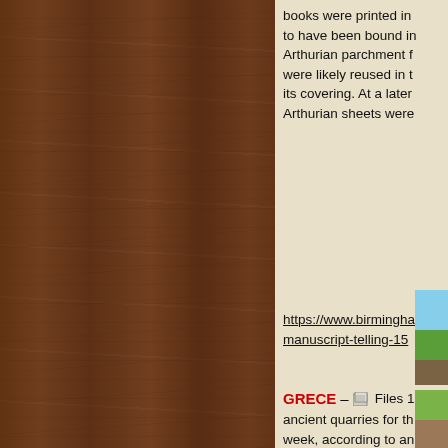[Figure (photo): Wood panel texture background, dark brown wood grain filling the left portion of the page]
books were printed in to have been bound in Arthurian parchment f were likely reused in t its covering. At a later Arthurian sheets were
https://www.birmingha manuscript-telling-15
GRECE – Files 1 php
ancient quarries for th week, according to an Sports. The fantastic c